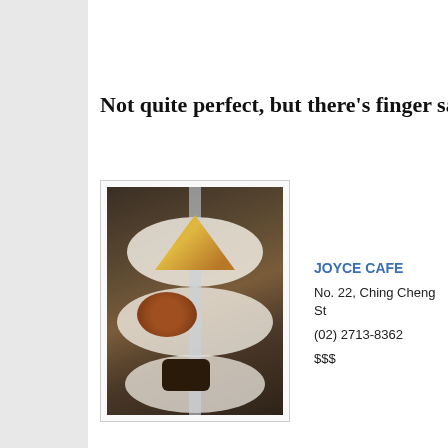Not quite perfect, but there's finger san
[Figure (photo): A tiered serving stand with plates of finger sandwiches and small desserts at Joyce Cafe]
JOYCE CAFE
No. 22, Ching Cheng St
(02) 2713-8362
$$$